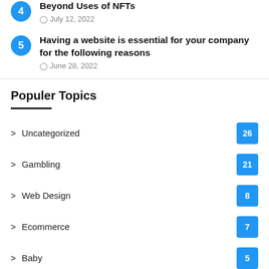4 Beyond Uses of NFTs — July 12, 2022
5 Having a website is essential for your company for the following reasons — June 28, 2022
Populer Topics
> Uncategorized 26
> Gambling 21
> Web Design 8
> Ecommerce 7
> Baby 5
> Men's Supplements 4
> Stem Cell 3